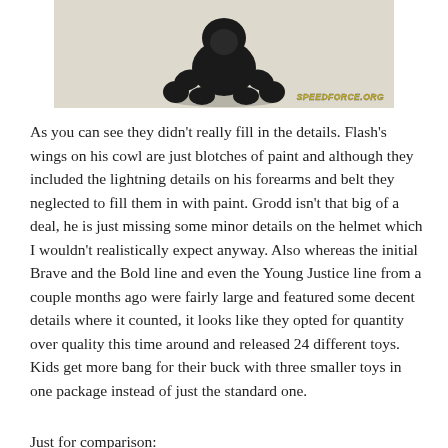[Figure (photo): A small dark gorilla toy figurine in a crouching stance on a light-colored surface, with a watermark reading 'SPEEDFORCE.ORG' in the bottom right corner.]
As you can see they didn't really fill in the details. Flash's wings on his cowl are just blotches of paint and although they included the lightning details on his forearms and belt they neglected to fill them in with paint. Grodd isn't that big of a deal, he is just missing some minor details on the helmet which I wouldn't realistically expect anyway. Also whereas the initial Brave and the Bold line and even the Young Justice line from a couple months ago were fairly large and featured some decent details where it counted, it looks like they opted for quantity over quality this time around and released 24 different toys. Kids get more bang for their buck with three smaller toys in one package instead of just the standard one.
Just for comparison: